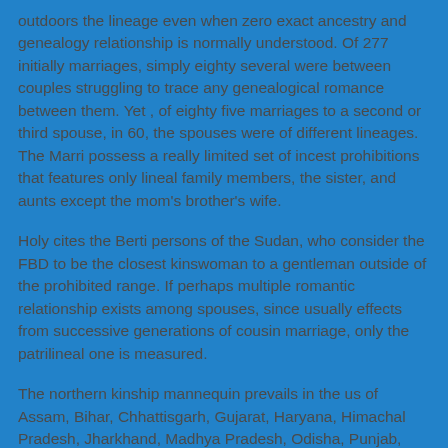outdoors the lineage even when zero exact ancestry and genealogy relationship is normally understood. Of 277 initially marriages, simply eighty several were between couples struggling to trace any genealogical romance between them. Yet , of eighty five marriages to a second or third spouse, in 60, the spouses were of different lineages. The Marri possess a really limited set of incest prohibitions that features only lineal family members, the sister, and aunts except the mom's brother's wife.
Holy cites the Berti persons of the Sudan, who consider the FBD to be the closest kinswoman to a gentleman outside of the prohibited range. If perhaps multiple romantic relationship exists among spouses, since usually effects from successive generations of cousin marriage, only the patrilineal one is measured.
The northern kinship mannequin prevails in the us of Assam, Bihar, Chhattisgarh, Gujarat, Haryana, Himachal Pradesh, Jharkhand, Madhya Pradesh, Odisha, Punjab,